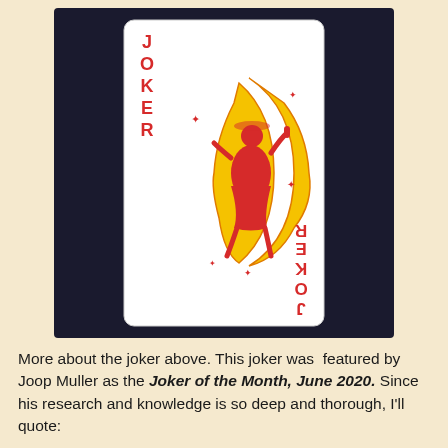[Figure (photo): A playing card Joker card standing upright against a dark background. The card is white with red and yellow artwork showing a woman in a dress sitting on a crescent moon with stars. 'JOKER' is printed vertically in red at the top-left, and upside-down 'JOKER' text appears at the bottom-right.]
More about the joker above. This joker was  featured by Joop Muller as the Joker of the Month, June 2020. Since his research and knowledge is so deep and thorough, I'll quote: